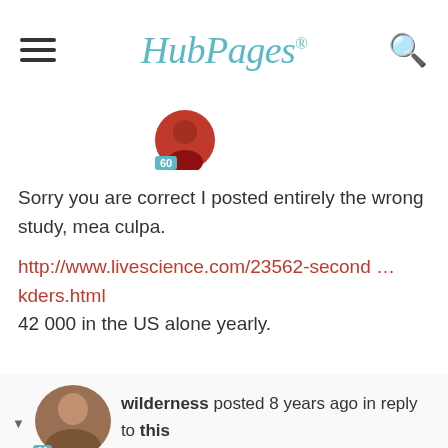HubPages
[Figure (illustration): User avatar circle with badge showing 60]
Sorry you are correct I posted entirely the wrong study, mea culpa.
http://www.livescience.com/23562-second … kders.html
42 000 in the US alone yearly.

Different cities no, same car, definitely.
reply   report
wilderness posted 8 years ago in reply to this